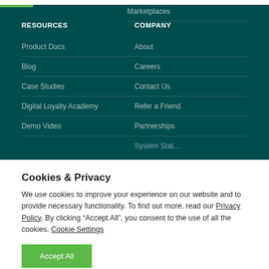RESOURCES
Product Docs
Blog
Case Studies
Digital Loyalty Academy
Demo Video
COMPANY
Marketplaces
About
Careers
Contact Us
Refer a Friend
Partnerships
Cookies & Privacy
We use cookies to improve your experience on our website and to provide necessary functionality. To find out more, read our Privacy Policy. By clicking “Accept All”, you consent to the use of all the cookies. Cookie Settings